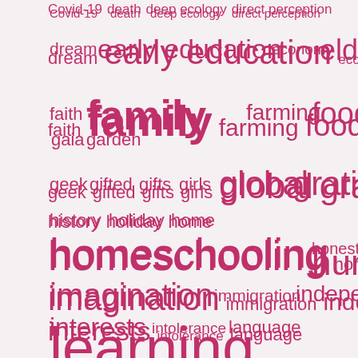[Figure (infographic): Word cloud with topic tags in various sizes, all in pink/crimson color on a light pink background. Words include: Covid-19, death, deep ecology, direct perception, dream, early education, economy, elders, faith, family, farming, food, gaia, garden, geek, gifted, gifts, girls, global, gratitude, history, holiday, home, homeschooling, honesty, humor, imagination, immigration, independence, interests, intolerance, language, learning, libraries, links & news, listening, literature, lookism, maker, marriage, math]